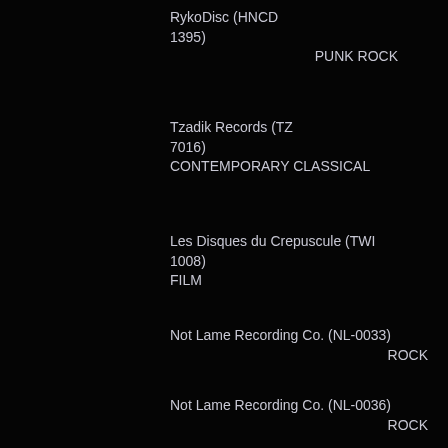RykoDisc (HNCD 1395)
            PUNK ROCK
Tzadik Records (TZ 7016)
CONTEMPORARY CLASSICAL
Les Disques du Crepuscule (TWI 1008)
FILM
Not Lame Recording Co. (NL-0033)
                              ROCK
Not Lame Recording Co. (NL-0036)
                              ROCK